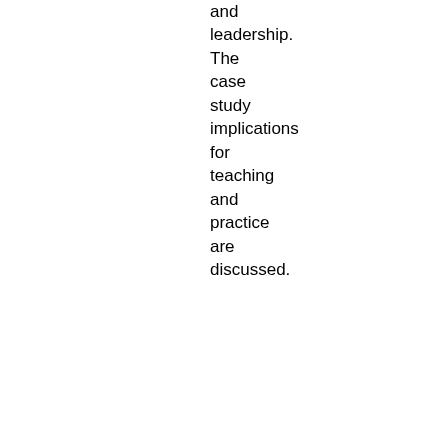and leadership. The case study implications for teaching and practice are discussed.
| Field | Value |
| --- | --- |
| Item Type: | Book chapter |
| Full text: | (AM) Accepted Manuscript
Download PDF (745K) |
| Status: | Peer-reviewed |
| Publisher Web site: | http://www.emeraldins...
357120160000080009 |
| Publisher statement: | This article is © Emera... permission has been g... appear here http://dr... |